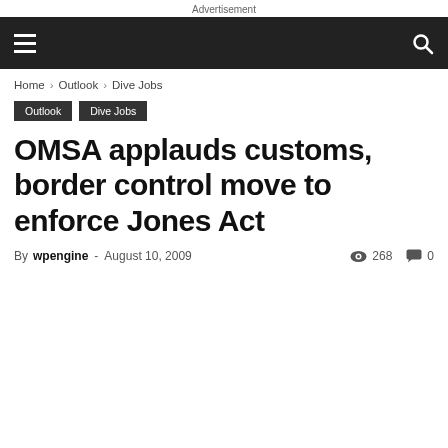Advertisement
☰ [navigation bar] 🔍
Home › Outlook › Dive Jobs
Outlook  Dive Jobs
OMSA applauds customs, border control move to enforce Jones Act
By wpengine - August 10, 2009  👁 268  💬 0